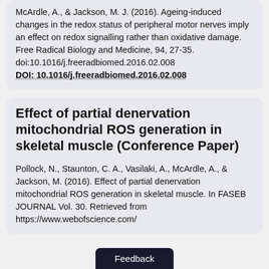McArdle, A., & Jackson, M. J. (2016). Ageing-induced changes in the redox status of peripheral motor nerves imply an effect on redox signalling rather than oxidative damage. Free Radical Biology and Medicine, 94, 27-35. doi:10.1016/j.freeradbiomed.2016.02.008 DOI: 10.1016/j.freeradbiomed.2016.02.008
Effect of partial denervation mitochondrial ROS generation in skeletal muscle (Conference Paper)
Pollock, N., Staunton, C. A., Vasilaki, A., McArdle, A., & Jackson, M. (2016). Effect of partial denervation mitochondrial ROS generation in skeletal muscle. In FASEB JOURNAL Vol. 30. Retrieved from https://www.webofscience.com/
Feedback